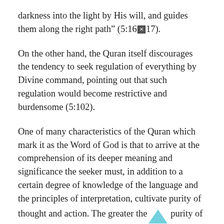darkness into the light by His will, and guides them along the right path” (5:16•17).
On the other hand, the Quran itself discourages the tendency to seek regulation of everything by Divine command, pointing out that such regulation would become restrictive and burdensome (5:102).
One of many characteristics of the Quran which mark it as the Word of God is that to arrive at the comprehension of its deeper meaning and significance the seeker must, in addition to a certain degree of knowledge of the language and the principles of interpretation, cultivate purity of thought and action. The greater the purity of a person’s life the deeper and wider will be his comprehension of the meaning of the Quran (56:80). This has always been